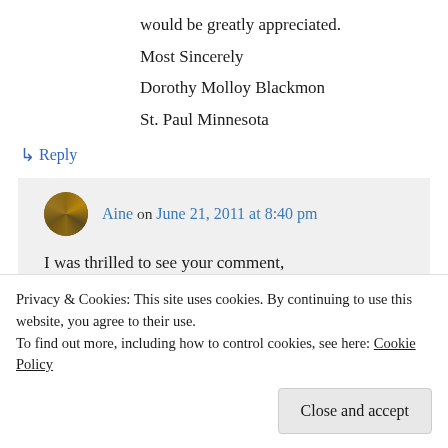would be greatly appreciated.
Most Sincerely
Dorothy Molloy Blackmon
St. Paul Minnesota
↳ Reply
Aine on June 21, 2011 at 8:40 pm
I was thrilled to see your comment, Dorothy! I have a few questions for you, so
Privacy & Cookies: This site uses cookies. By continuing to use this website, you agree to their use.
To find out more, including how to control cookies, see here: Cookie Policy
Close and accept